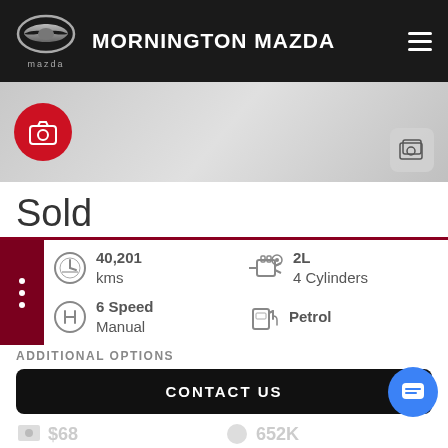MORNINGTON MAZDA
[Figure (screenshot): Partial vehicle image with red camera icon on left and photo gallery icon on right]
Sold
40,201 kms
2L 4 Cylinders
6 Speed Manual
Petrol
ADDITIONAL OPTIONS
CONTACT US
$68
652K
FINANCE THIS VEHICLE